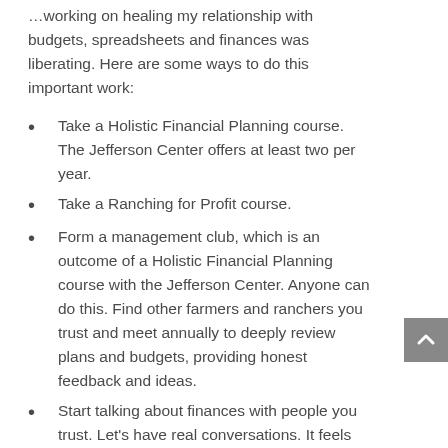spreadsheets and finances was liberating. Here are some ways to do this important work:
Take a Holistic Financial Planning course. The Jefferson Center offers at least two per year.
Take a Ranching for Profit course.
Form a management club, which is an outcome of a Holistic Financial Planning course with the Jefferson Center. Anyone can do this. Find other farmers and ranchers you trust and meet annually to deeply review plans and budgets, providing honest feedback and ideas.
Start talking about finances with people you trust. Let's have real conversations. It feels good. It is energizing. It is healthy. It forms deep connections. All good reasons to take the chance of being vulnerable, which is required